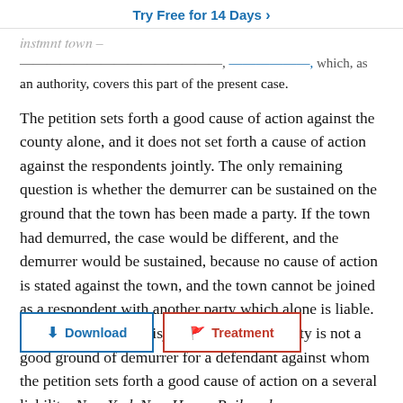Try Free for 14 Days >
...an authority, covers this part of the present case.
The petition sets forth a good cause of action against the county alone, and it does not set forth a cause of action against the respondents jointly. The only remaining question is whether the demurrer can be sustained on the ground that the town has been made a party. If the town had demurred, the case would be different, and the demurrer would be sustained, because no cause of action is stated against the town, and the town cannot be joined as a respondent with another party which alone is liable. But the rule is that misjoinder of another party is not a good ground of demurrer for a defendant against whom the petition sets forth a good cause of action on a several liability. New York New Haven Railroad v.